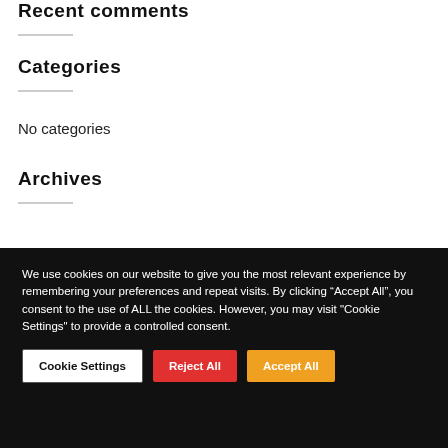Recent comments
Categories
No categories
Archives
We use cookies on our website to give you the most relevant experience by remembering your preferences and repeat visits. By clicking “Accept All”, you consent to the use of ALL the cookies. However, you may visit "Cookie Settings" to provide a controlled consent.